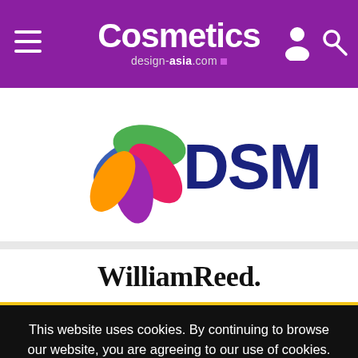Cosmetics design-asia.com
[Figure (logo): DSM logo with colorful circular leaves and DSM text in dark blue]
[Figure (logo): WilliamReed. logo in serif bold font]
This website uses cookies. By continuing to browse our website, you are agreeing to our use of cookies. You can learn more about cookies by visiting our privacy & cookies policy page.
I Agree